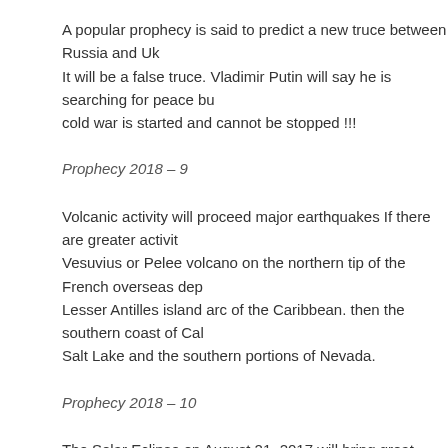A popular prophecy is said to predict a new truce between Russia and Uk... It will be a false truce. Vladimir Putin will say he is searching for peace bu... cold war is started and cannot be stopped !!!
Prophecy 2018 – 9
Volcanic activity will proceed major earthquakes If there are greater activit... Vesuvius or Pelee volcano on the northern tip of the French overseas dep... Lesser Antilles island arc of the Caribbean. then the southern coast of Cal... Salt Lake and the southern portions of Nevada.
Prophecy 2018 – 10
The Solar Eclipse on August 21, 2017 will bring great changes to earth. Th... of impending natural catastrophe / human disaster, and also will involve th... States, Russia, China, Iran, N-Korea and Israel will be entangled in. This p... 2019-2020 !!!
Prophecy 2018 – 11
Be aware of Turkey, because Turkey is a false prophet !!! Turkey could ev... middle eastern countries to make (economic) war against The West and Is... during a time when "Peace and Security" is being proclaimed. Watch this ... (2019 to 2023). IF Turkey becomes a member of the EU, this will be the ...